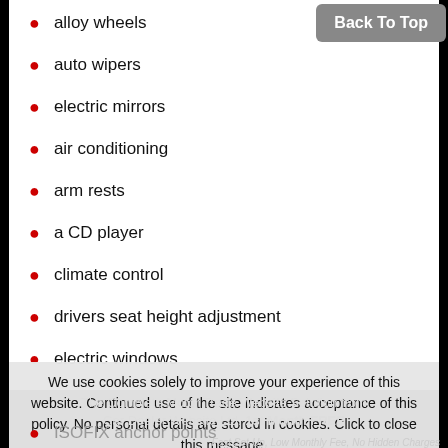alloy wheels
auto wipers
electric mirrors
air conditioning
arm rests
a CD player
climate control
drivers seat height adjustment
electric windows
half leather
heated front screen
heated seats
leather interior
a multi-disc CD player
a multi-function steering wheel
power steering
a radio/cassette
rear privacy glass
We use cookies solely to improve your experience of this website. Continued use of the site indicates acceptance of this policy. No personal details are stored in cookies. Click to close this message.
The Complete Motor Trade Website Solution from Car Dealer Website Ltd. 1st Month FREE
Fast Set-Up, Low Monthly Fee, No Hidden Charges
ISOFIX anchor points